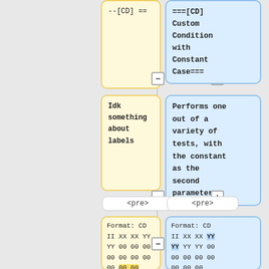--[CD] ==
===[CD]
Custom
Condition
with
Constant
Case===
Idk
something
about labels
Performs one out of a variety of tests, with the constant as the second parameter.
<pre>
<pre>
Format: CD
II XX XX YY
YY 00 00 00
00 00 00 00
00 00 00
Format: CD
II XX XX YY
YY YY YY 00
00 00 00 00
00 00 00